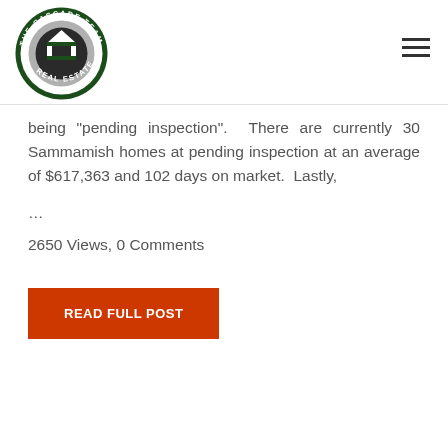[Figure (logo): The Cascade Team Real Estate circular logo with green border and house icon]
being "pending inspection".  There are currently 30 Sammamish homes at pending inspection at an average of $617,363 and 102 days on market.  Lastly,
…
2650 Views, 0 Comments
READ FULL POST